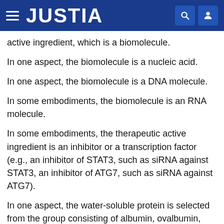JUSTIA
active ingredient, which is a biomolecule.
In one aspect, the biomolecule is a nucleic acid.
In one aspect, the biomolecule is a DNA molecule.
In some embodiments, the biomolecule is an RNA molecule.
In some embodiments, the therapeutic active ingredient is an inhibitor or a transcription factor (e.g., an inhibitor of STAT3, such as siRNA against STAT3, an inhibitor of ATG7, such as siRNA against ATG7).
In one aspect, the water-soluble protein is selected from the group consisting of albumin, ovalbumin, mucin, transferrin, insulin, lysozyme, hemoglobin, collagen, catalase, horseradish peroxidase, glucose oxidase, and a combination thereof.